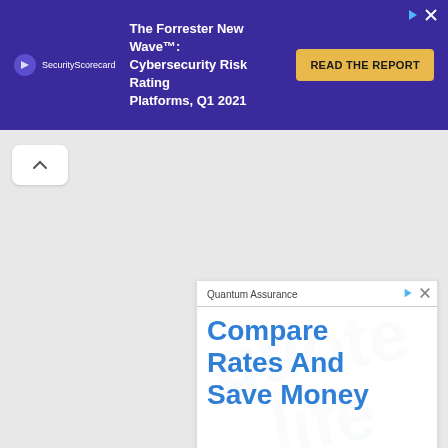[Figure (screenshot): Banner advertisement for SecurityScorecard: 'The Forrester New Wave™: Cybersecurity Risk Rating Platforms, Q1 2021' with a 'READ THE REPORT' button on a dark purple background]
[Figure (screenshot): Square advertisement for Quantum Assurance with large blue text 'Compare Rates And Save Money' and a blue 'Get Quote >' button]
[Figure (photo): Bottom image strip showing 'PRONOUNS WORKSHEETS FOR' text on a gray background on the left, and a dark background with paper/origami shapes on the right]